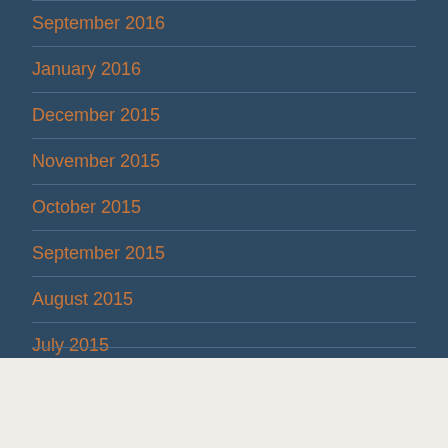September 2016
January 2016
December 2015
November 2015
October 2015
September 2015
August 2015
July 2015
June 2015